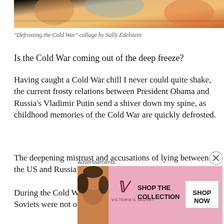[Figure (photo): Cropped top portion of a colorful collage artwork showing figures with warm and cool tones, watermarked with sallyedelsteincollage.com]
“Defrosting the Cold War” collage by Sally Edelstein
Is the Cold War coming out of the deep freeze?
Having caught a Cold War chill I never could quite shake, the current frosty relations between President Obama and Russia’s Vladimir Putin send a shiver down my spine, as childhood memories of the Cold War are quickly defrosted.
The deepening mistrust and accusations of lying between the US and Russia feels like deja vu all over again.
During the Cold War, Uncle Sam was certain that the Soviets were not only concealing the truth but waging a
[Figure (photo): Victoria's Secret advertisement banner with a model, VS logo, SHOP THE COLLECTION text, and SHOP NOW button on pink background]
Advertisements